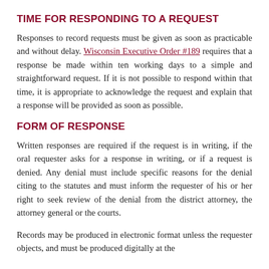TIME FOR RESPONDING TO A REQUEST
Responses to record requests must be given as soon as practicable and without delay. Wisconsin Executive Order #189 requires that a response be made within ten working days to a simple and straightforward request. If it is not possible to respond within that time, it is appropriate to acknowledge the request and explain that a response will be provided as soon as possible.
FORM OF RESPONSE
Written responses are required if the request is in writing, if the oral requester asks for a response in writing, or if a request is denied. Any denial must include specific reasons for the denial citing to the statutes and must inform the requester of his or her right to seek review of the denial from the district attorney, the attorney general or the courts.
Records may be produced in electronic format unless the requester objects, and must be produced digitally at the